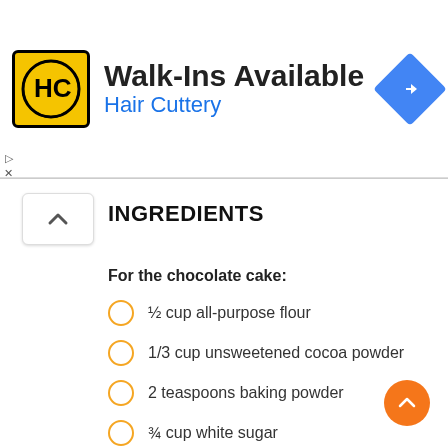[Figure (other): Hair Cuttery advertisement banner with logo, 'Walk-Ins Available' headline, and navigation icon]
INGREDIENTS
For the chocolate cake:
½ cup all-purpose flour
1/3 cup unsweetened cocoa powder
2 teaspoons baking powder
¾ cup white sugar
2 medium-sized eggs
½ cup oil
1 cup milk
For the chocolate frosting: